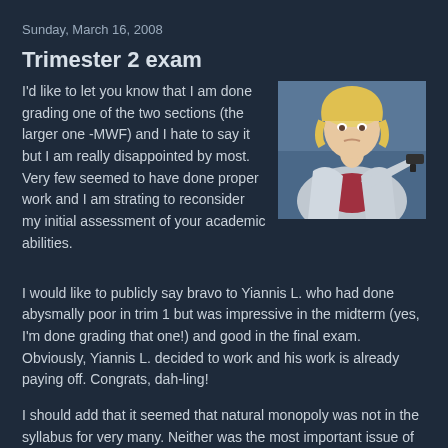Sunday, March 16, 2008
Trimester 2 exam
[Figure (photo): A blonde woman pointing a gun toward the viewer, from what appears to be a movie or TV scene. She is wearing a light gray jacket over a red top.]
I'd like to let you know that I am done grading one of the two sections (the larger one -MWF) and I hate to say it but I am really disappointed by most. Very few seemed to have done proper work and I am strating to reconsider my initial assessment of your academic abilities.
I would like to publicly say bravo to Yiannis L. who had done abysmally poor in trim 1 but was impressive in the midterm (yes, I'm done grading that one!) and good in the final exam. Obviously, Yiannis L. decided to work and his work is already paying off. Congrats, dah-ling!
I should add that it seemed that natural monopoly was not in the syllabus for very many. Neither was the most important issue of how scarce resources are allocated in a market...